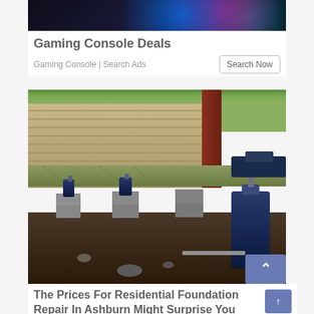[Figure (photo): Top portion of a gaming console advertisement image showing colorful lights on dark background]
Gaming Console Deals
Gaming Console | Search Ads
[Figure (photo): Photo of residential foundation repair showing hydraulic jacks lifting a house with wooden siding, concrete block piers, and blue hydraulic jack stands on dirt ground]
The Prices For Residential Foundation Repair In Ashburn Might Surprise You